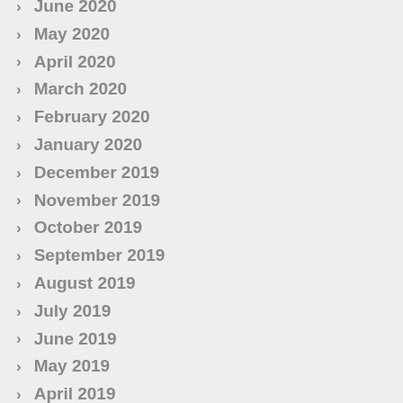June 2020
May 2020
April 2020
March 2020
February 2020
January 2020
December 2019
November 2019
October 2019
September 2019
August 2019
July 2019
June 2019
May 2019
April 2019